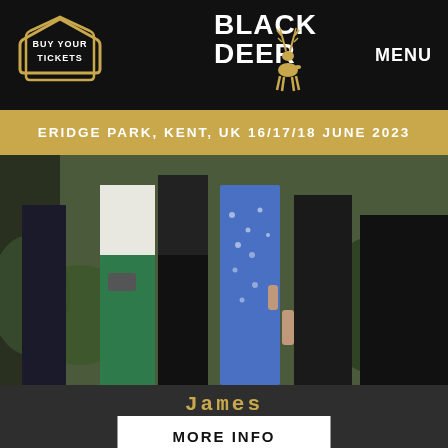[Figure (logo): Black Deer Festival header with Buy Your Tickets logo on left, Black Deer logo in center, MENU on right, all on black background]
ERIDGE PARK, KENT, UK 16/17/18 JUNE 2023
[Figure (photo): Group of people (band members) standing together, partial view from waist down, one wearing green trousers, one in blue floral dress]
James
View More...
MORE INFO